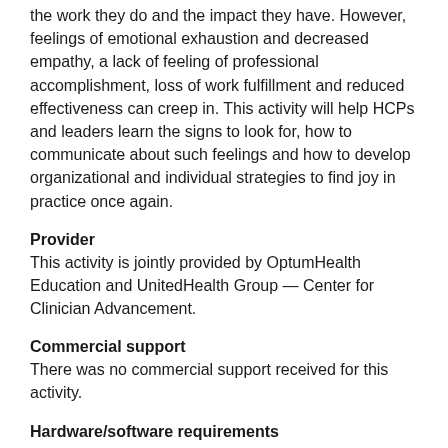the work they do and the impact they have. However, feelings of emotional exhaustion and decreased empathy, a lack of feeling of professional accomplishment, loss of work fulfillment and reduced effectiveness can creep in. This activity will help HCPs and leaders learn the signs to look for, how to communicate about such feelings and how to develop organizational and individual strategies to find joy in practice once again.
Provider
This activity is jointly provided by OptumHealth Education and UnitedHealth Group — Center for Clinician Advancement.
Commercial support
There was no commercial support received for this activity.
Hardware/software requirements
To view this activity, you will need Internet Explorer 7.0+ or Firefox 3.0+ with Windows Media Player 9+,